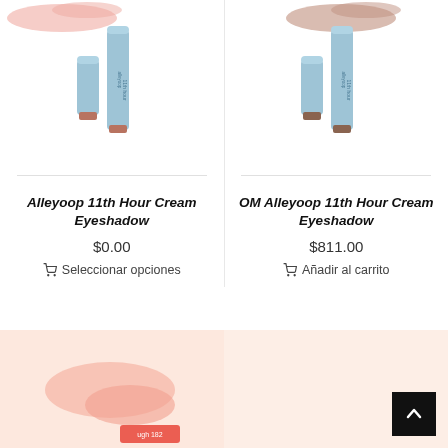[Figure (photo): Alleyoop 11th Hour Cream Eyeshadow product image — two blue stick containers with a mauve/terracotta swatch, on white background]
Alleyoop 11th Hour Cream Eyeshadow
$0.00
🛒 Seleccionar opciones
[Figure (photo): OM Alleyoop 11th Hour Cream Eyeshadow product image — two blue stick containers with a taupe/brown swatch, on white background]
OM Alleyoop 11th Hour Cream Eyeshadow
$811.00
🛒 Añadir al carrito
[Figure (photo): Partially visible product image on peach/salmon background — bottom of page, left column]
[Figure (photo): Partially visible product image on peach background — bottom of page, right column]